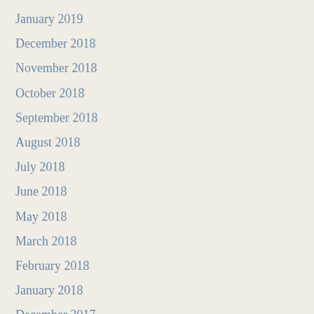January 2019
December 2018
November 2018
October 2018
September 2018
August 2018
July 2018
June 2018
May 2018
March 2018
February 2018
January 2018
December 2017
November 2017